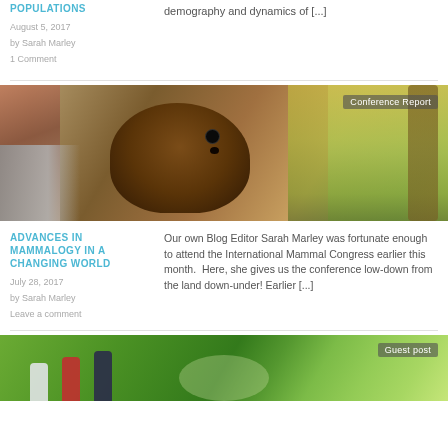POPULATIONS
August 5, 2017
by Sarah Marley
1 Comment
demography and dynamics of [...]
[Figure (photo): Close-up photo of a quokka animal with a person partially visible on the left, trees and yellow foliage in the background. Badge reads 'Conference Report'.]
ADVANCES IN MAMMALOGY IN A CHANGING WORLD
July 28, 2017
by Sarah Marley
Leave a comment
Our own Blog Editor Sarah Marley was fortunate enough to attend the International Mammal Congress earlier this month.  Here, she gives us the conference low-down from the land down-under! Earlier [...]
[Figure (photo): Photo of people walking in a green forest/park setting. Badge reads 'Guest post'.]